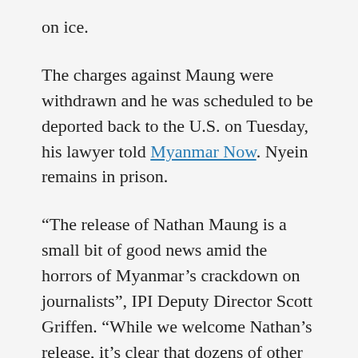on ice.
The charges against Maung were withdrawn and he was scheduled to be deported back to the U.S. on Tuesday, his lawyer told Myanmar Now. Nyein remains in prison.
“The release of Nathan Maung is a small bit of good news amid the horrors of Myanmar’s crackdown on journalists”, IPI Deputy Director Scott Griffen. “While we welcome Nathan’s release, it’s clear that dozens of other journalists remain behind bars and subject to abuse and torture by the military junta. We continue to demand the release of all detained reporters in Myanmar, and we repeat our call on the